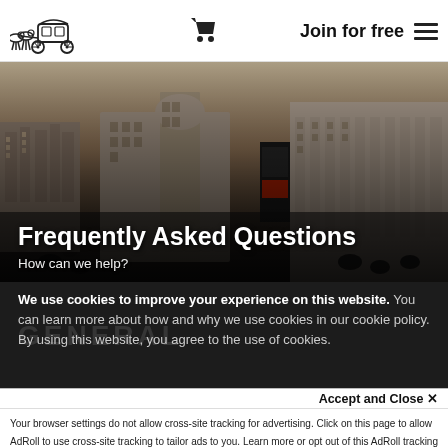Logo | Cart | Join for free | Menu
[Figure (photo): Aerial/street-level photograph of London city street with grand classical buildings, taken at dusk with dark overlay. Piccadilly Circus area.]
Frequently Asked Questions
How can we help?
We use cookies to improve your experience on this website. You can learn more about how and why we use cookies in our cookie policy. By using this website, you agree to the use of cookies.
Accept and Close ✕
Your browser settings do not allow cross-site tracking for advertising. Click on this page to allow AdRoll to use cross-site tracking to tailor ads to you. Learn more or opt out of this AdRoll tracking by clicking here. This message only appears once.